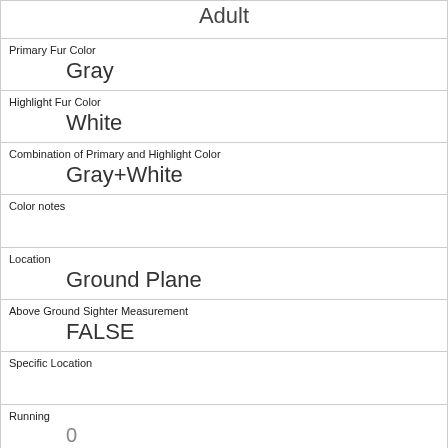| Adult |
| Primary Fur Color | Gray |
| Highlight Fur Color | White |
| Combination of Primary and Highlight Color | Gray+White |
| Color notes |  |
| Location | Ground Plane |
| Above Ground Sighter Measurement | FALSE |
| Specific Location |  |
| Running | 0 |
| Chasing | 1 |
| Climbing | 0 |